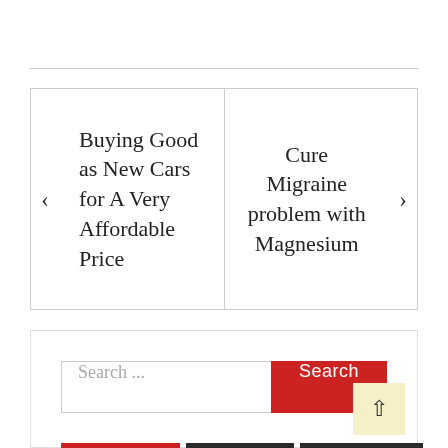Buying Good as New Cars for A Very Affordable Price
Cure Migraine problem with Magnesium
Search ...
Search
POPULAR
RECENT
COMMENT